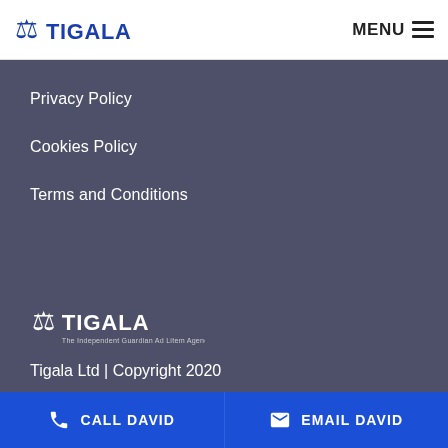[Figure (logo): Tigala logo with scales of justice icon and text TIGALA in blue]
MENU ≡
Privacy Policy
Cookies Policy
Terms and Conditions
[Figure (logo): Tigala white logo with text: The Independent Guardian Ad Litem Agency]
Tigala Ltd | Copyright 2020
CALL DAVID
EMAIL DAVID